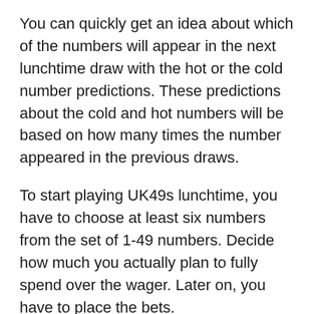You can quickly get an idea about which of the numbers will appear in the next lunchtime draw with the hot or the cold number predictions. These predictions about the cold and hot numbers will be based on how many times the number appeared in the previous draws.
To start playing UK49s lunchtime, you have to choose at least six numbers from the set of 1-49 numbers. Decide how much you actually plan to fully spend over the wager. Later on, you have to place the bets.
How can you play UK49s Lunchtime?
In each of the draws, you have to randomly choose six balls followed by an extra ball